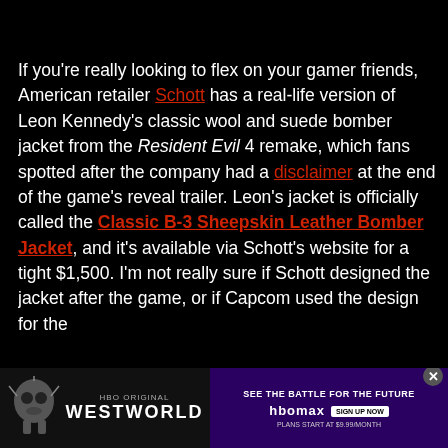If you're really looking to flex on your gamer friends, American retailer Schott has a real-life version of Leon Kennedy's classic wool and suede bomber jacket from the Resident Evil 4 remake, which fans spotted after the company had a disclaimer at the end of the game's reveal trailer. Leon's jacket is officially called the Classic B-3 Sheepskin Leather Bomber Jacket, and it's available via Schott's website for a tight $1,500. I'm not really sure if Schott designed the jacket after the game, or if Capcom used the design for the m[obscured]ld
[Figure (screenshot): Advertisement banner for Westworld HBO Max showing a skull graphic, the text WESTWORLD, and a purple panel with SEE THE BATTLE FOR THE FUTURE, HBO Max logo, SIGN UP NOW button, and PLANS START AT $9.99/MONTH. A close button is visible in the top right.]